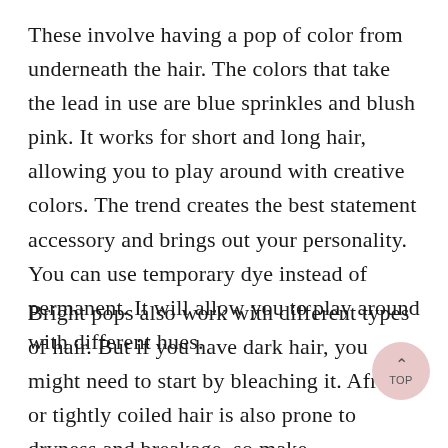These involve having a pop of color from underneath the hair. The colors that take the lead in use are blue sprinkles and blush pink. It works for short and long hair, allowing you to play around with creative colors. The trend creates the best statement accessory and brings out your personality. You can use temporary dye instead of permanent. It will allow you to play around with different hues.
Bright pops also work with different types of hair. But if you have dark hair, you might need to start by bleaching it. African or tightly coiled hair is also prone to dryness and breakage, so make